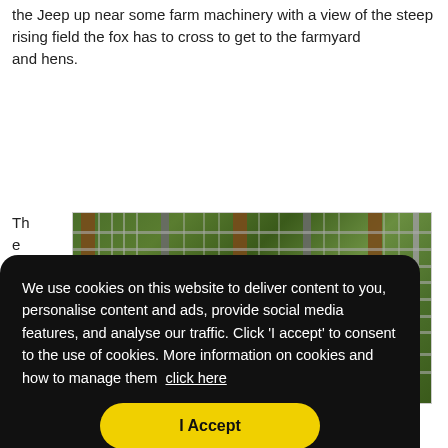the Jeep up near some farm machinery with a view of the steep rising field the fox has to cross to get to the farmyard
and hens.
The first,
[Figure (photo): A photograph of a wire mesh fence or animal enclosure with vertical metal and wooden posts, green plants/crops visible behind the fencing.]
We use cookies on this website to deliver content to you, personalise content and ads, provide social media features, and analyse our traffic. Click 'I accept' to consent to the use of cookies. More information on cookies and how to manage them click here
I Accept
of
the hill, stopping every so often to sniff around, then it